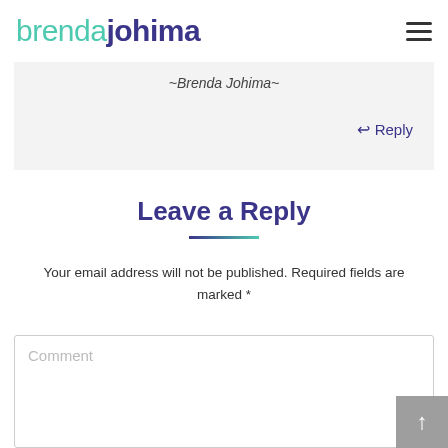brendajohima
~Brenda Johima~
↩ Reply
Leave a Reply
Your email address will not be published. Required fields are marked *
Comment